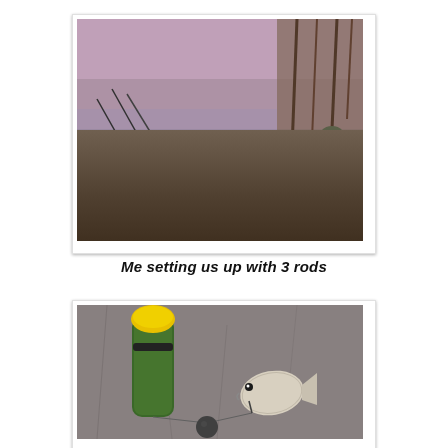[Figure (photo): A person in camouflage clothing lying on a wooden dock by a lake at dusk, setting up fishing rods. Reeds visible in the background, pink-purple sky reflected in the water.]
Me setting us up with 3 rods
[Figure (photo): Fishing gear laid out on a concrete surface: a green torpedo/feeder float with yellow top, a round lead weight, and a small fish (bait or catch), connected by fishing line.]